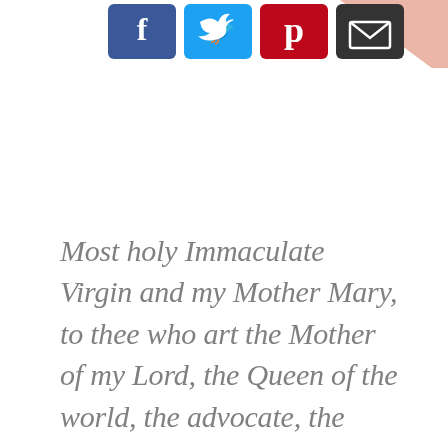[Figure (other): Social media share buttons: Facebook (blue), Twitter (light blue), Pinterest (dark red), Email (dark gray), plus a partial peach/salmon colored decorative element in the top right corner]
Most holy Immaculate Virgin and my Mother Mary, to thee who art the Mother of my Lord, the Queen of the world, the advocate, the hope, the